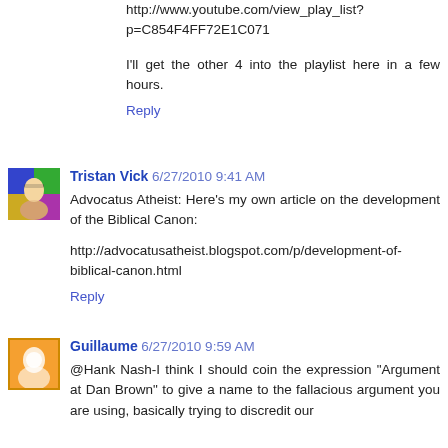http://www.youtube.com/view_play_list?p=C854F4FF72E1C071
I'll get the other 4 into the playlist here in a few hours.
Reply
Tristan Vick 6/27/2010 9:41 AM
Advocatus Atheist: Here's my own article on the development of the Biblical Canon:
http://advocatusatheist.blogspot.com/p/development-of-biblical-canon.html
Reply
Guillaume 6/27/2010 9:59 AM
@Hank Nash-I think I should coin the expression "Argument at Dan Brown" to give a name to the fallacious argument you are using, basically trying to discredit our